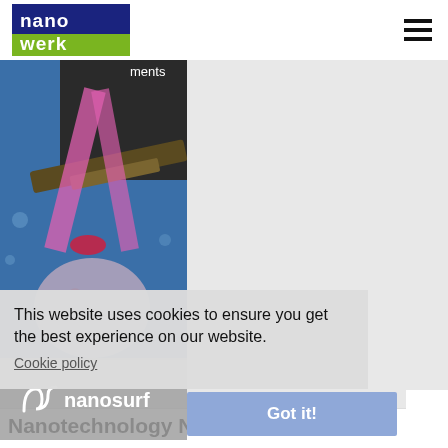[Figure (logo): Nanowerk logo with blue and green background, text 'nano werk']
[Figure (photo): Scientific illustration of laser beam (pink V-shape) hitting a nanotechnology instrument/cantilever over a spherical nanoparticle sample, blue background]
ments
This website uses cookies to ensure you get the best experience on our website.
Cookie policy
[Figure (logo): Nanosurf logo — stylized 'n' mark followed by text 'nanosurf']
Got it!
Nanotechnology News